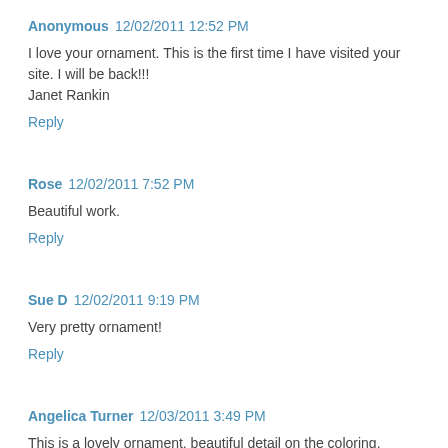Anonymous 12/02/2011 12:52 PM
I love your ornament. This is the first time I have visited your site. I will be back!!!
Janet Rankin
Reply
Rose 12/02/2011 7:52 PM
Beautiful work.
Reply
Sue D 12/02/2011 9:19 PM
Very pretty ornament!
Reply
Angelica Turner 12/03/2011 3:49 PM
This is a lovely ornament, beautiful detail on the coloring.